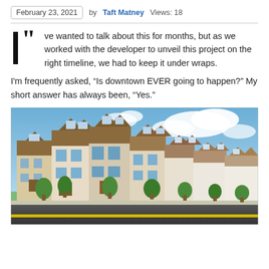February 23, 2021  by Taft Matney  Views: 18
I've wanted to talk about this for months, but as we worked with the developer to unveil this project on the right timeline, we had to keep it under wraps.
I'm frequently asked, “Is downtown EVER going to happen?” My short answer has always been, “Yes.”
[Figure (illustration): Architectural rendering of a row of mixed-use townhouse/residential buildings with brick and white facades, dormer windows, street-level storefronts, trees, and a road with a yellow street marking in the foreground. Blue sky with clouds in the background.]